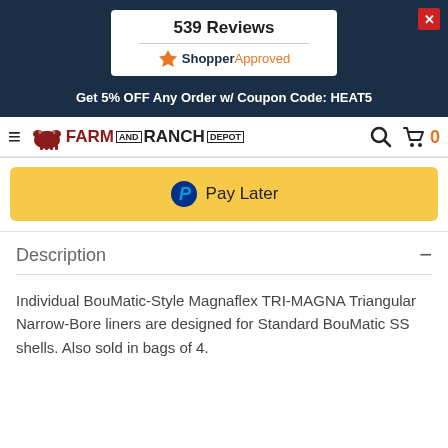539 Reviews
[Figure (logo): ShopperApproved logo with star icon]
Get 5% OFF Any Order w/ Coupon Code: HEAT5
[Figure (logo): Farm and Ranch Depot logo with cow icon, hamburger menu, search icon, cart icon showing 0]
[Figure (screenshot): PayPal Pay Later button in yellow/gold color]
Description
Individual BouMatic-Style Magnaflex TRI-MAGNA Triangular Narrow-Bore liners are designed for Standard BouMatic SS shells. Also sold in bags of 4.